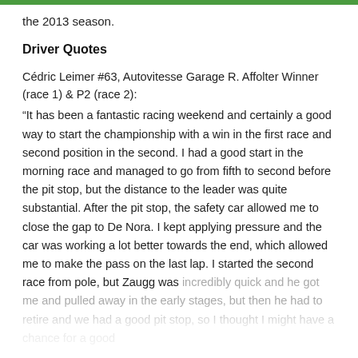the 2013 season.
Driver Quotes
Cédric Leimer #63, Autovitesse Garage R. Affolter Winner (race 1) & P2 (race 2):
“It has been a fantastic racing weekend and certainly a good way to start the championship with a win in the first race and second position in the second. I had a good start in the morning race and managed to go from fifth to second before the pit stop, but the distance to the leader was quite substantial. After the pit stop, the safety car allowed me to close the gap to De Nora. I kept applying pressure and the car was working a lot better towards the end, which allowed me to make the pass on the last lap. I started the second race from pole, but Zaugg was incredibly quick and he got me and pulled away in the early stages, but then he had to retire and we had a good pit stop, so I thought I might have a chance for a good result.